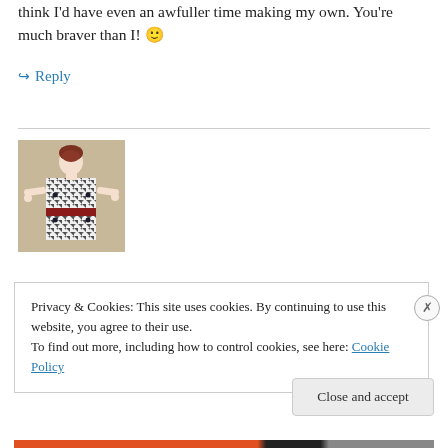think I'd have even an awfuller time making my own. You're much braver than I! 🙂
↪ Reply
[Figure (photo): A fabric art piece or illustration showing a doll-like figure wearing a black and white houndstooth dress with a red belt, with brown hair, arms outstretched, on a beige background.]
Privacy & Cookies: This site uses cookies. By continuing to use this website, you agree to their use.
To find out more, including how to control cookies, see here: Cookie Policy
Close and accept